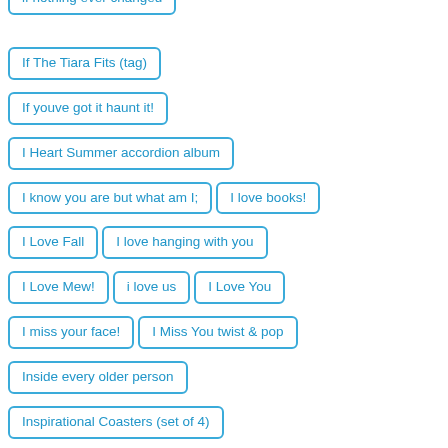if nothing ever changed
If The Tiara Fits (tag)
If youve got it haunt it!
I Heart Summer accordion album
I know you are but what am I;
I love books!
I Love Fall
I love hanging with you
I Love Mew!
i love us
I Love You
I miss your face!
I Miss You twist & pop
Inside every older person
Inspirational Coasters (set of 4)
Inspirational Coins (set of 3)